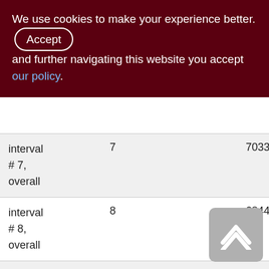We use cookies to make your experience better. By accepting and further navigating this website you accept our policy.
|  |  |  |  |
| --- | --- | --- | --- |
| interval # 7, overall | 7 | 7033 | 132202 |
| interval # 8, overall | 8 | 6844 | 134121 |
| interval # 9, overall | 9 | 6973 | 136936 |
| interval # 10, overall | 10 | 7501 | 148100 |